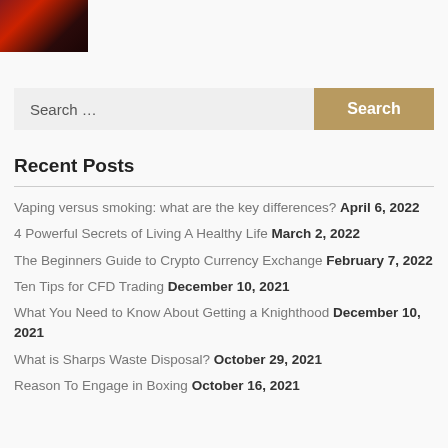[Figure (photo): Small thumbnail image showing a dark reddish scene, possibly a vaping or smoking related product photo.]
Search ...
Vaping versus smoking: what are the key differences? April 6, 2022
4 Powerful Secrets of Living A Healthy Life March 2, 2022
The Beginners Guide to Crypto Currency Exchange February 7, 2022
Ten Tips for CFD Trading December 10, 2021
What You Need to Know About Getting a Knighthood December 10, 2021
What is Sharps Waste Disposal? October 29, 2021
Reason To Engage in Boxing October 16, 2021